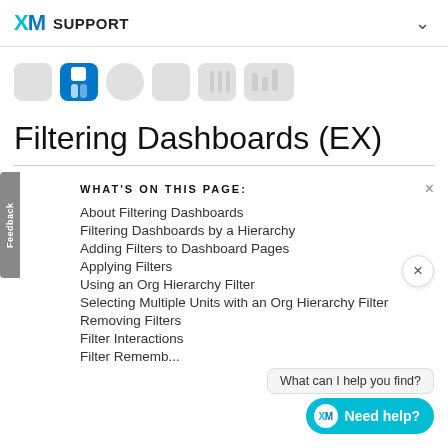XM SUPPORT
[Figure (logo): Qualtrics product icon strip showing various product logos in grey and blue]
Filtering Dashboards (EX)
WHAT'S ON THIS PAGE:
About Filtering Dashboards
Filtering Dashboards by a Hierarchy
Adding Filters to Dashboard Pages
Applying Filters
Using an Org Hierarchy Filter
Selecting Multiple Units with an Org Hierarchy Filter
Removing Filters
Filter Interactions
Filter Remembering